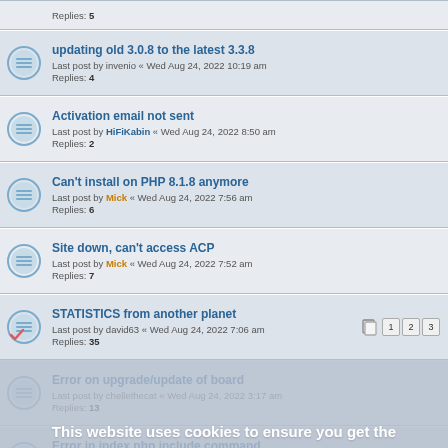Replies: 5
updating old 3.0.8 to the latest 3.3.8
Last post by invenio « Wed Aug 24, 2022 10:19 am
Replies: 4
Activation email not sent
Last post by HiFiKabin « Wed Aug 24, 2022 8:50 am
Replies: 2
Can't install on PHP 8.1.8 anymore
Last post by Mick « Wed Aug 24, 2022 7:56 am
Replies: 6
Site down, can't access ACP
Last post by Mick « Wed Aug 24, 2022 7:52 am
Replies: 7
STATISTICS from another planet
Last post by david63 « Wed Aug 24, 2022 7:06 am
Replies: 35
Error on upgrade/update of board
Last post by chellethecat « Wed Aug 24, 2022 3:17 am
Replies: 13
Error in index.php include command
Last post by Xevious « Wed Aug 24, 2022 12:04 am
Replies: 4
Disable registration for users under 18
Last post by Lumpy Burgertible « Tue Aug 23, 2022 9:13 pm
Replies: 4
Server 500 error while trying to delete post (Only happens when I switch to Custom Style - Mobbern3.3)